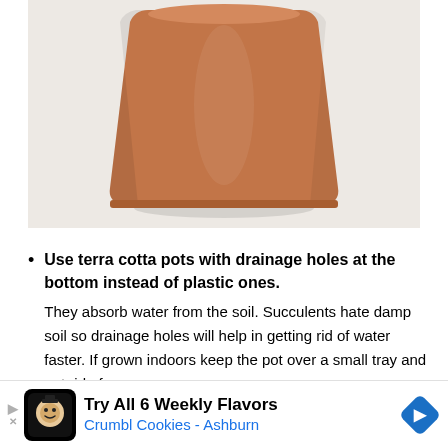[Figure (photo): A terracotta/terra cotta clay pot photographed against a white/light gray background. The pot is cylindrical with a slightly wider top, classic orange-brown clay color.]
Use terra cotta pots with drainage holes at the bottom instead of plastic ones. They absorb water from the soil. Succulents hate damp soil so drainage holes will help in getting rid of water faster. If grown indoors keep the pot over a small tray and get rid of
[Figure (other): Advertisement bar: Crumbl Cookies - Ashburn. 'Try All 6 Weekly Flavors' with cookie mascot icon and blue navigation arrow diamond icon.]